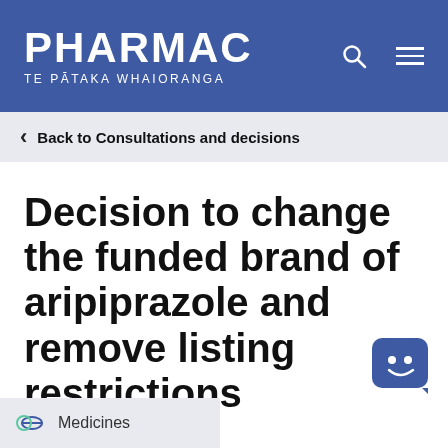PHARMAC TE PĀTAKA WHAIORANGA
Back to Consultations and decisions
Decision to change the funded brand of aripiprazole and remove listing restrictions
7 March 2018
[Figure (illustration): Chat bot widget icon — blue rounded square with a smiley face]
Medicines